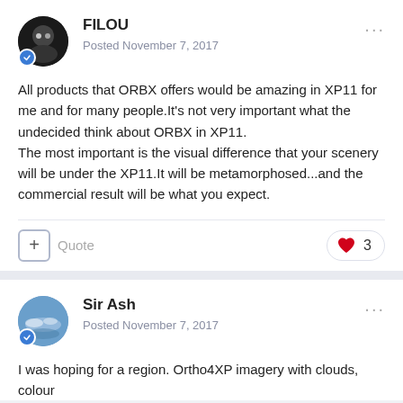FILOU
Posted November 7, 2017
All products that ORBX offers would be amazing in XP11 for me and for many people.It's not very important what the undecided think about ORBX in XP11.
The most important is the visual difference that your scenery will be under the XP11.It will be metamorphosed...and the commercial result will be what you expect.
Sir Ash
Posted November 7, 2017
I was hoping for a region. Ortho4XP imagery with clouds, colour